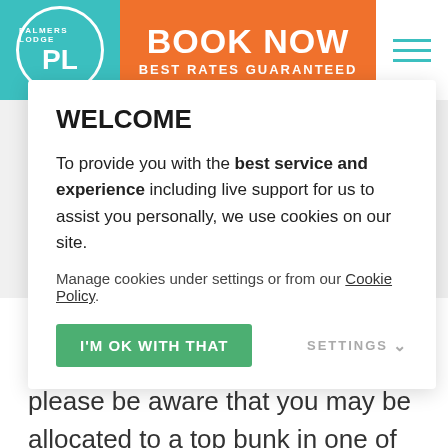[Figure (logo): Palmers Lodge circular logo in teal with PL initials]
BOOK NOW BEST RATES GUARANTEED
WELCOME
To provide you with the best service and experience including live support for us to assist you personally, we use cookies on our site.
Manage cookies under settings or from our Cookie Policy.
I'M OK WITH THAT
SETTINGS
Palmers Lodge does not operate a maximum age limit, however, please be aware that you may be allocated to a top bunk in one of our dorm rooms. If you would like to guarantee a bottom bunk, please contact our team and we will do our best to accommodate your